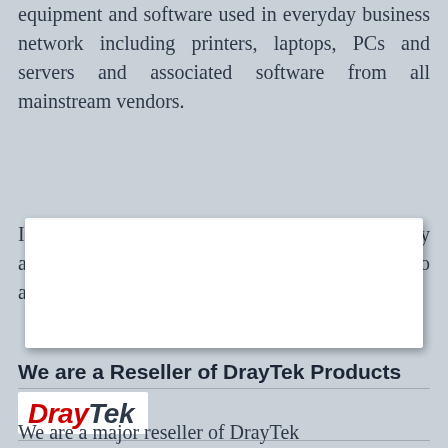equipment and software used in everyday business network including printers, laptops, PCs and servers and associated software from all mainstream vendors.
If you need advice on the best products for any application, please call us and we will be happy to assist you in making the right choice.
[Figure (other): White rectangular box placeholder image area]
We are a Reseller of DrayTek Products
[Figure (logo): DrayTek logo in red and dark grey italic bold text on white background]
We are a major reseller of DrayTek